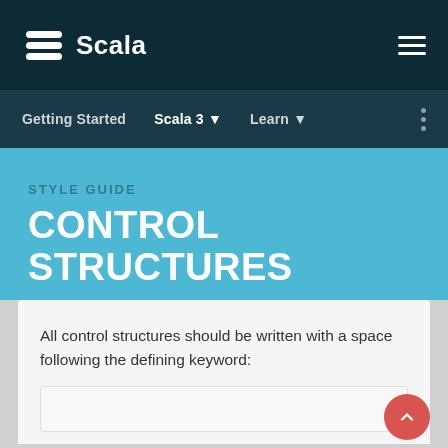[Figure (logo): Scala logo with stacked lines icon and 'Scala' text in white on dark teal background]
Getting Started   Scala 3 ▼   Learn ▼
STYLE GUIDE
CONTROL STRUCTURES
All control structures should be written with a space following the defining keyword: